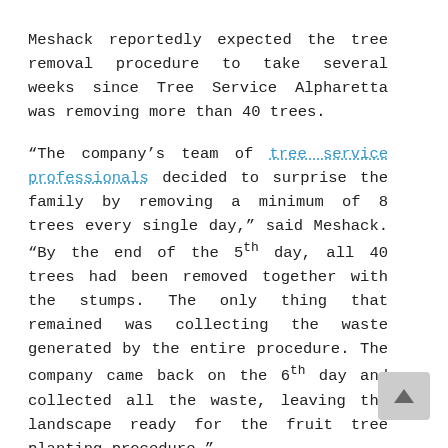Meshack reportedly expected the tree removal procedure to take several weeks since Tree Service Alpharetta was removing more than 40 trees.
“The company’s team of tree service professionals decided to surprise the family by removing a minimum of 8 trees every single day,” said Meshack. “By the end of the 5th day, all 40 trees had been removed together with the stumps. The only thing that remained was collecting the waste generated by the entire procedure. The company came back on the 6th day and collected all the waste, leaving the landscape ready for the fruit tree planting procedure.”
Meshack told a group of reporters that he intends to initiate the fruit tree planting procedure next week. He plans to complete the procedure as soon as possible to ensure his landscape regains the benefit it was enjoying before he removed the previous trees.